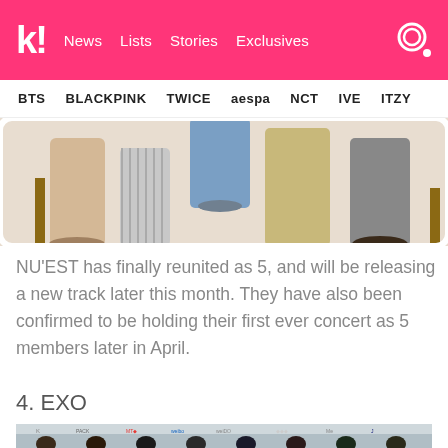k! News Lists Stories Exclusives
BTS BLACKPINK TWICE aespa NCT IVE ITZY
[Figure (photo): Partial photo of NU'EST members seated, showing their legs and lower bodies in casual outfits on a light background.]
NU'EST has finally reunited as 5, and will be releasing a new track later this month. They have also been confirmed to be holding their first ever concert as 5 members later in April.
4. EXO
[Figure (photo): Group photo of EXO members at a red carpet/event with sponsor logos in background.]